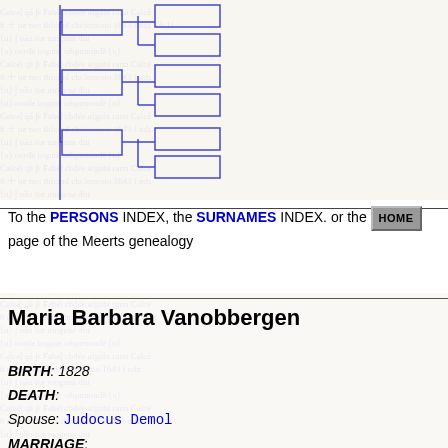[Figure (other): Genealogy pedigree chart showing family tree branches in blue outline boxes connected by lines, overlaid on a faded manuscript background]
To the PERSONS INDEX, the SURNAMES INDEX. or the HOME page of the Meerts genealogy
Maria Barbara Vanobbergen
BIRTH: 1828
DEATH:
Spouse: Judocus Demol
MARRIAGE: